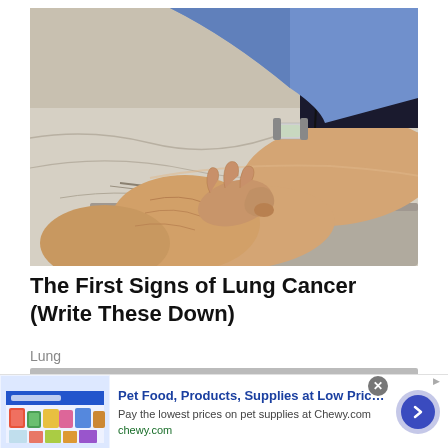[Figure (photo): A doctor or physician pressing a finger on a patient's swollen ankle/leg, demonstrating pitting edema or swelling, which can be a symptom of lung cancer. The patient's leg rests on a medical table with a white/grey sheet.]
The First Signs of Lung Cancer (Write These Down)
Lung
[Figure (photo): Partial view of a second article thumbnail below — brown/dark tones, partially visible.]
Pet Food, Products, Supplies at Low Prices - Pay the lowest prices on pet supplies at Chewy.com chewy.com